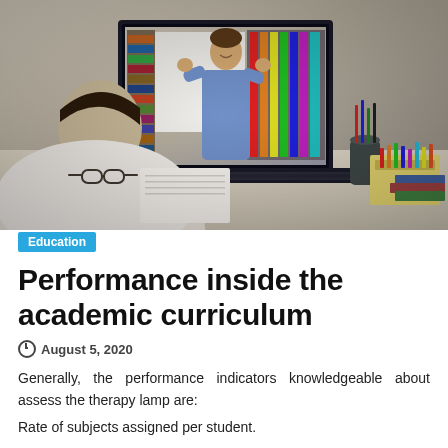[Figure (photo): Person viewed from behind sitting at a desk, writing on a notepad while watching an online video call on a laptop screen showing a smiling male instructor gesturing with his hands. Desk has glasses, a pencil holder, and colorful art supplies nearby.]
Education
Performance inside the academic curriculum
August 5, 2020
Generally, the performance indicators knowledgeable about assess the therapy lamp are:
Rate of subjects assigned per student.
Effective completion period of curricular mesh per